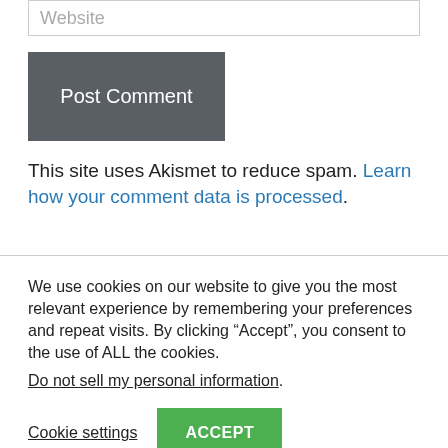Website
Post Comment
This site uses Akismet to reduce spam. Learn how your comment data is processed.
We use cookies on our website to give you the most relevant experience by remembering your preferences and repeat visits. By clicking “Accept”, you consent to the use of ALL the cookies.
Do not sell my personal information.
Cookie settings
ACCEPT